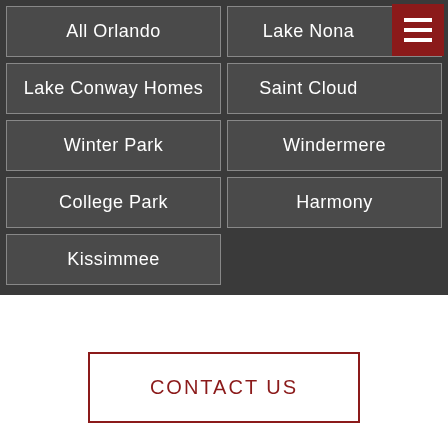All Orlando
Lake Nona
Lake Conway Homes
Saint Cloud
Winter Park
Windermere
College Park
Harmony
Kissimmee
CONTACT US